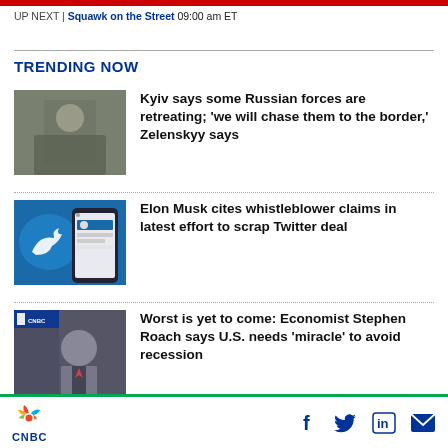UP NEXT | Squawk on the Street 09:00 am ET
TRENDING NOW
[Figure (photo): Person in military attire holding rifle]
Kyiv says some Russian forces are retreating; 'we will chase them to the border,' Zelenskyy says
[Figure (photo): Twitter bird logo and phone with Elon Musk profile on blue background]
Elon Musk cites whistleblower claims in latest effort to scrap Twitter deal
[Figure (photo): Economist Stephen Roach speaking at event]
Worst is yet to come: Economist Stephen Roach says U.S. needs 'miracle' to avoid recession
CNBC — Facebook, Twitter, LinkedIn, Email social icons